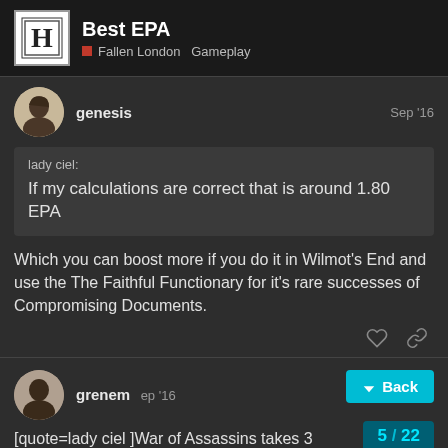Best EPA — Fallen London Gameplay
genesis — Sep '16
lady ciel:
If my calculations are correct that is around 1.80 EPA
Which you can boost more if you do it in Wilmot's End and use the The Faithful Functionary for it's rare successes of Compromising Documents.
grenem — Sep '16
[quote=lady ciel ]War of Assassins takes 3